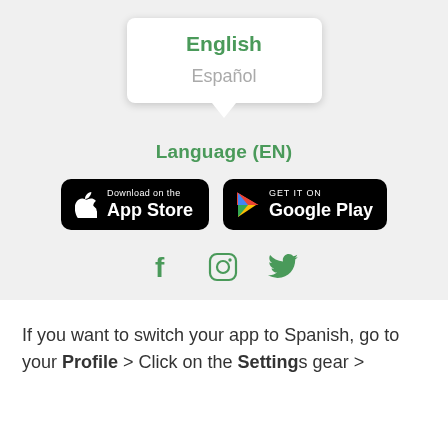[Figure (screenshot): A dropdown menu UI showing two language options: 'English' (selected, in green) and 'Español' (in gray), followed by a 'Language (EN)' label in green, App Store and Google Play download buttons, and three social media icons (Facebook, Instagram, Twitter) in green.]
If you want to switch your app to Spanish, go to your Profile > Click on the Settings gear >